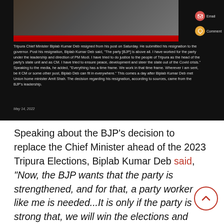[Figure (screenshot): Screenshot of a news article or social media post about Tripura Chief Minister Biplab Kumar Deb resigning from his post. Contains a video thumbnail with a man in yellow shirt speaking to microphones, and a text block describing his resignation and statements. Dated May 14, 2022. Social sharing icons for Email and Comment visible on the right.]
Speaking about the BJP's decision to replace the Chief Minister ahead of the 2023 Tripura Elections, Biplab Kumar Deb said, "Now, the BJP wants that the party is strengthened, and for that, a party worker like me is needed...It is only if the party is strong that, we will win the elections and subsequently, form the government in the state. After that, of course, a Chief Minister will be chosen".